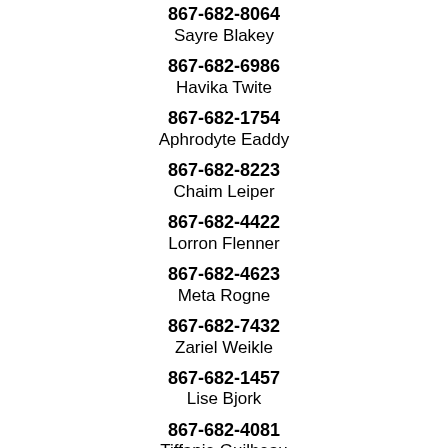867-682-8064
Sayre Blakey
867-682-6986
Havika Twite
867-682-1754
Aphrodyte Eaddy
867-682-8223
Chaim Leiper
867-682-4422
Lorron Flenner
867-682-4623
Meta Rogne
867-682-7432
Zariel Weikle
867-682-1457
Lise Bjork
867-682-4081
Tiffanie Guilbeau